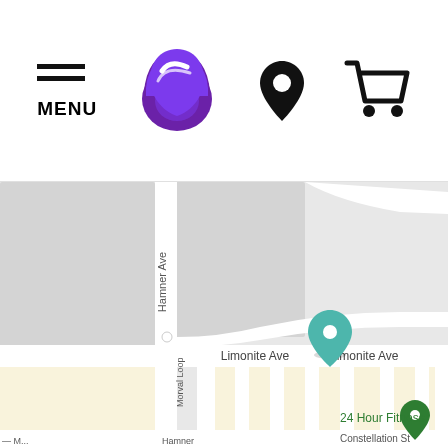[Figure (screenshot): Taco Bell website navigation bar with hamburger menu icon and MENU label, Taco Bell logo (purple bell), location pin icon, and shopping cart icon]
[Figure (map): Google Maps screenshot showing intersection of Hamner Ave and Limonite Ave. A teal/green location pin marks a point on Limonite Ave. Another green pin marks '24 Hour Fitness'. Street labels include Hamner Ave, Limonite Ave, Limonite Ave, Morval Loop, Constellation St.]